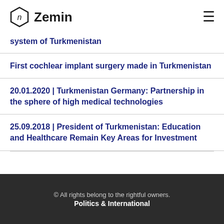Zemin
system of Turkmenistan
First cochlear implant surgery made in Turkmenistan
20.01.2020 | Turkmenistan Germany: Partnership in the sphere of high medical technologies
25.09.2018 | President of Turkmenistan: Education and Healthcare Remain Key Areas for Investment
© All rights belong to the rightful owners.
Politics & International